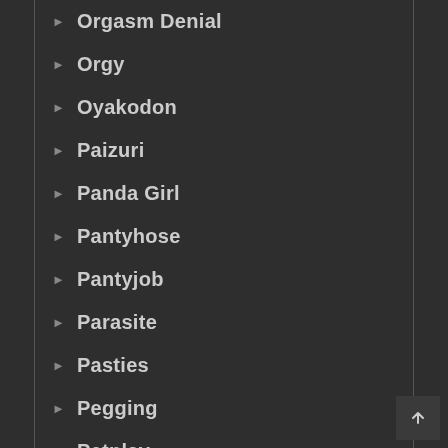Orgasm Denial
Orgy
Oyakodon
Paizuri
Panda Girl
Pantyhose
Pantyjob
Parasite
Pasties
Pegging
Petplay
Petrification
Phimosis